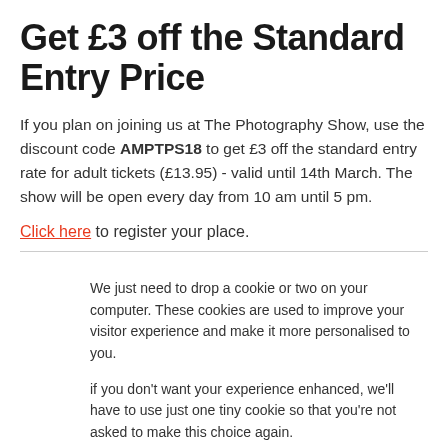Get £3 off the Standard Entry Price
If you plan on joining us at The Photography Show, use the discount code AMPTPS18 to get £3 off the standard entry rate for adult tickets (£13.95) - valid until 14th March. The show will be open every day from 10 am until 5 pm.
Click here to register your place.
We just need to drop a cookie or two on your computer. These cookies are used to improve your visitor experience and make it more personalised to you.

if you don't want your experience enhanced, we'll have to use just one tiny cookie so that you're not asked to make this choice again.